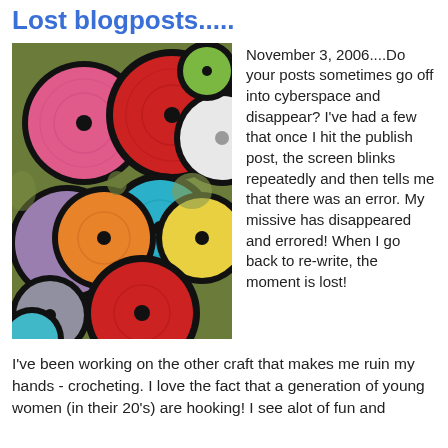Lost blogposts.....
[Figure (photo): Colorful crocheted circles/granny squares in various colors including red, pink, orange, yellow, teal, white, purple, and olive green, with black borders, arranged overlapping on a surface.]
November 3, 2006....Do your posts sometimes go off into cyberspace and disappear? I've had a few that once I hit the publish post, the screen blinks repeatedly and then tells me that there was an error. My missive has disappeared and errored! When I go back to re-write, the moment is lost!
I've been working on the other craft that makes me ruin my hands - crocheting. I love the fact that a generation of young women (in their 20's) are hooking! I see alot of fun and